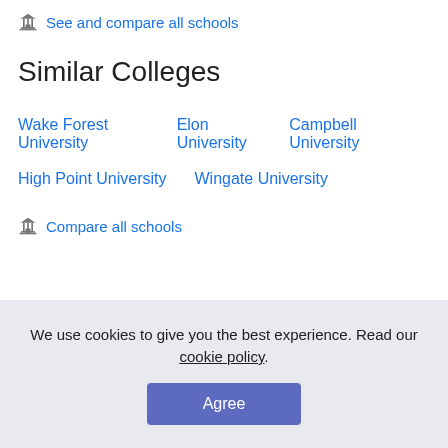🏛 See and compare all schools
Similar Colleges
Wake Forest University   Elon University   Campbell University
High Point University   Wingate University
🏛 Compare all schools
We use cookies to give you the best experience. Read our cookie policy.